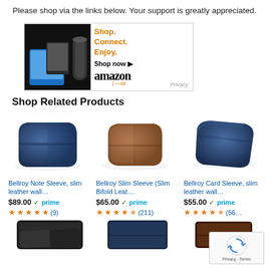Please shop via the links below. Your support is greatly appreciated.
[Figure (illustration): Amazon affiliate banner with devices (Fire tablet, Kindle, Echo) and text 'Shop. Connect. Enjoy. Shop now' with Amazon logo]
Shop Related Products
[Figure (photo): Bellroy Note Sleeve slim leather wallet in navy blue]
[Figure (photo): Bellroy Slim Sleeve (Slim Bifold Leather wallet) in brown]
[Figure (photo): Bellroy Card Sleeve slim leather wallet in navy blue]
Bellroy Note Sleeve, slim leather wall…
Bellroy Slim Sleeve (Slim Bifold Leat…
Bellroy Card Sleeve, slim leather wall…
$89.00 ✓prime ★★★★★ (9)
$65.00 ✓prime ★★★★½ (211)
$55.00 ✓prime ★★★★½ (56…)
[Figure (photo): Black leather wallet/zip case partially visible at bottom left]
[Figure (photo): Dark navy leather card wallet partially visible at bottom center]
[Figure (photo): Dark brown leather wallet partially visible at bottom right]